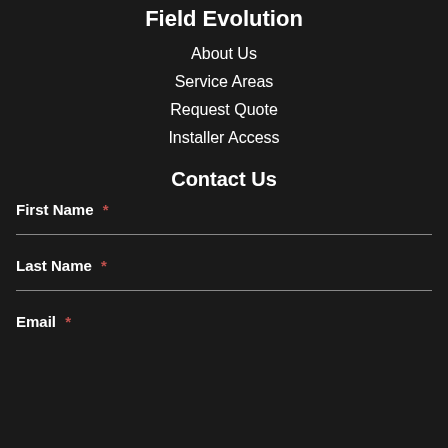Field Evolution
About Us
Service Areas
Request Quote
Installer Access
Contact Us
First Name *
Last Name *
Email *